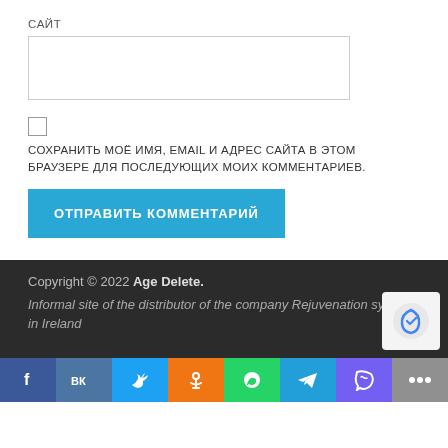САЙТ
[Figure (screenshot): Text input field for website URL]
[Figure (screenshot): Checkbox (unchecked)]
СОХРАНИТЬ МОЁ ИМЯ, EMAIL И АДРЕС САЙТА В ЭТОМ БРАУЗЕРЕ ДЛЯ ПОСЛЕДУЮЩИХ МОИХ КОММЕНТАРИЕВ.
[Figure (screenshot): Submit button labeled ОТПРАВИТЬ КОММЕНТАРИЙ in blue]
Copyright © 2022 Age Delete.
Informal site of the distributor of the company Rejuvenation system in Ireland
[Figure (infographic): Social media icon bar: Facebook, VK, Twitter, Odnoklassniki, WhatsApp, Telegram, Viber, more]